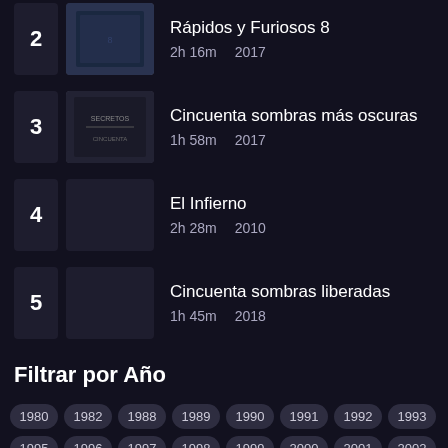2 - Rápidos y Furiosos 8 | 2h 16m  2017
3 - Cincuenta sombras más oscuras | 1h 58m  2017
4 - El Infierno | 2h 28m  2010
5 - Cincuenta sombras liberadas | 1h 45m  2018
Filtrar por Año
1980 1982 1988 1989 1990 1991 1992 1993
1995 1996 1997 1998 1999 2000 2001 2002
2003 2004 2006 2007 2008 2009 2010 2011
2012 2013 2014 2015 2016 2017 2018 2019